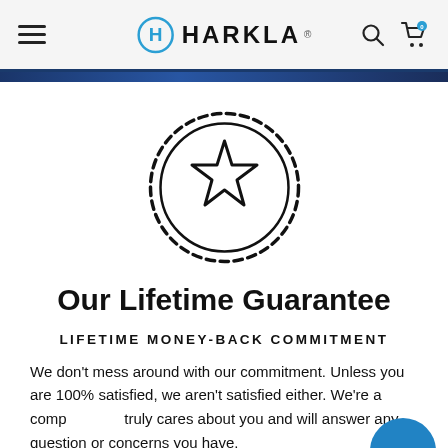HARKLA
[Figure (illustration): A round badge/seal icon with a star in the center and a scalloped/gear-like border, drawn in black outline style.]
Our Lifetime Guarantee
LIFETIME MONEY-BACK COMMITMENT
We don't mess around with our commitment. Unless you are 100% satisfied, we aren't satisfied either. We're a company that truly cares about you and will answer any question or concerns you have.